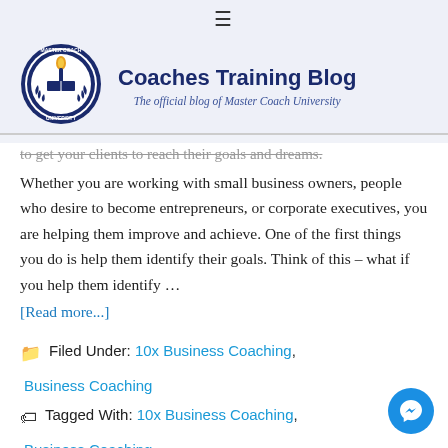≡
[Figure (logo): Master Coach University circular badge logo with torch and open book, dark navy blue border with text 'MASTER COACH UNIVERSITY']
Coaches Training Blog
The official blog of Master Coach University
to get your clients to reach their goals and dreams.
Whether you are working with small business owners, people who desire to become entrepreneurs, or corporate executives, you are helping them improve and achieve. One of the first things you do is help them identify their goals. Think of this – what if you help them identify …
[Read more...]
Filed Under: 10x Business Coaching, Business Coaching
Tagged With: 10x Business Coaching, Business Coaching